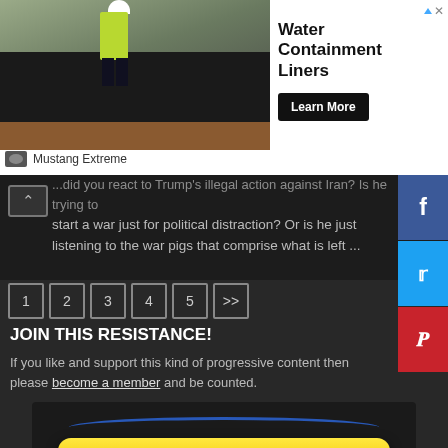[Figure (infographic): Advertisement banner: Water Containment Liners ad with worker on dark liner surface, Learn More button, Mustang Extreme brand name]
...did you react to Trump's illegal action against Iran? Is he trying to start a war just for political distraction? Or is he just listening to the war pigs that comprise what is left ...
1  2  3  4  5  >>
JOIN THIS RESISTANCE!
If you like and support this kind of progressive content then please become a member and be counted.
[Figure (infographic): Yellow Join Email List button with blue oval outline on dark background]